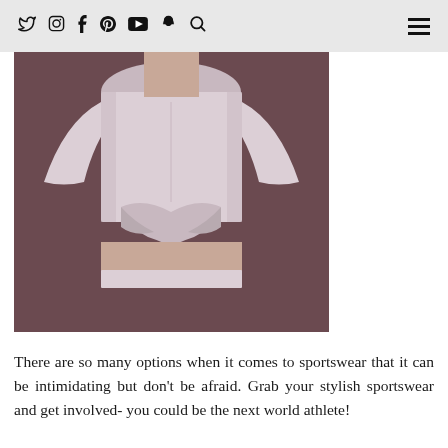Social media icons: Twitter, Instagram, Facebook, Pinterest, YouTube, Snapchat, Search; Hamburger menu
[Figure (photo): A woman wearing a light pink/blush long-sleeve twisted crop top sportswear piece against a dark mauve/brown background. The torso and crop top detail are visible.]
There are so many options when it comes to sportswear that it can be intimidating but don't be afraid. Grab your stylish sportswear and get involved- you could be the next world athlete!